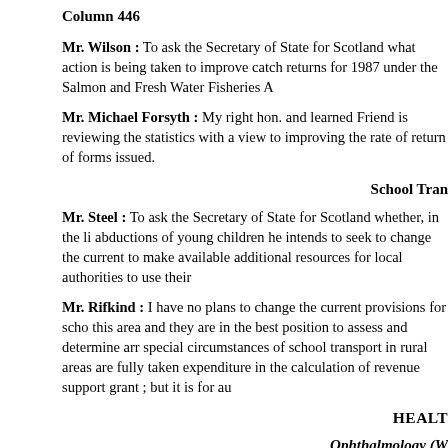Column 446
Mr. Wilson : To ask the Secretary of State for Scotland what action is being taken to improve catch returns for 1987 under the Salmon and Fresh Water Fisheries Ac
Mr. Michael Forsyth : My right hon. and learned Friend is reviewing the statistics with a view to improving the rate of return of forms issued.
School Tran
Mr. Steel : To ask the Secretary of State for Scotland whether, in the li abductions of young children he intends to seek to change the current to make available additional resources for local authorities to use their
Mr. Rifkind : I have no plans to change the current provisions for scho this area and they are in the best position to assess and determine arr special circumstances of school transport in rural areas are fully taken expenditure in the calculation of revenue support grant ; but it is for au
HEALT
Ophthalmology (W
Mr. Allen : To ask the Secretary of State for Health whether he has an times and numbers of patients currently on the waiting lists for
ophthalmological procedure at present (a) in the Nottingham district he
Mr. Mellor : There were 625 patients on the inpatient waiting list for op an average of 420 patients for the 152 English health authorities whi